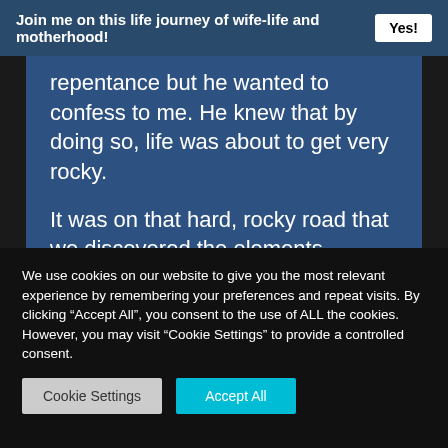Join me on this life journey of wife-life and motherhood! Yes!
repentance but he wanted to confess to me. He knew that by doing so, life was about to get very rocky.
It was on that hard, rocky road that we discovered the elements needed for complete healing and restoration in our marriage!
~Sabrina
We use cookies on our website to give you the most relevant experience by remembering your preferences and repeat visits. By clicking “Accept All”, you consent to the use of ALL the cookies. However, you may visit "Cookie Settings" to provide a controlled consent.